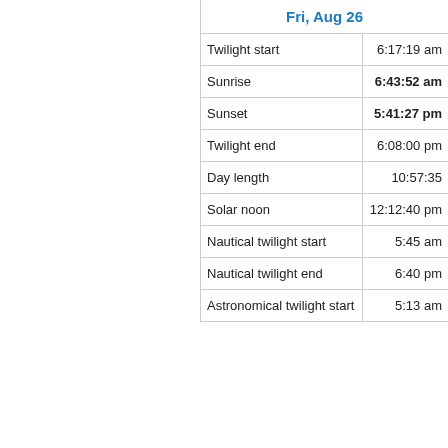|  | Fri, Aug 26 |
| --- | --- |
| Twilight start | 6:17:19 am |
| Sunrise | 6:43:52 am |
| Sunset | 5:41:27 pm |
| Twilight end | 6:08:00 pm |
| Day length | 10:57:35 |
| Solar noon | 12:12:40 pm |
| Nautical twilight start | 5:45 am |
| Nautical twilight end | 6:40 pm |
| Astronomical twilight start | 5:13 am |